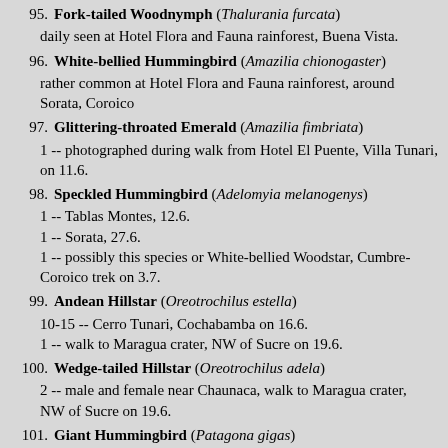95. Fork-tailed Woodnymph (Thalurania furcata)
    daily seen at Hotel Flora and Fauna rainforest, Buena Vista.
96. White-bellied Hummingbird (Amazilia chionogaster)
    rather common at Hotel Flora and Fauna rainforest, around Sorata, Coroico
97. Glittering-throated Emerald (Amazilia fimbriata)
    1 -- photographed during walk from Hotel El Puente, Villa Tunari, on 11.6.
98. Speckled Hummingbird (Adelomyia melanogenys)
    1 -- Tablas Montes, 12.6.
    1 -- Sorata, 27.6.
    1 -- possibly this species or White-bellied Woodstar, Cumbre-Coroico trek on 3.7.
99. Andean Hillstar (Oreotrochilus estella)
    10-15 -- Cerro Tunari, Cochabamba on 16.6.
    1 -- walk to Maragua crater, NW of Sucre on 19.6.
100. Wedge-tailed Hillstar (Oreotrochilus adela)
    2 -- male and female near Chaunaca, walk to Maragua crater, NW of Sucre on 19.6.
101. Giant Hummingbird (Patagona gigas)